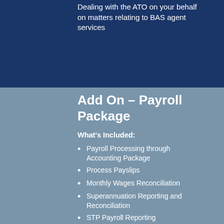Dealing with the ATO on your behalf on matters relating to BAS agent services
Add On – Payroll Package
What's Included:
Payroll Processing through Accounting Package
Process Payslips
Monthly Wages Reconciliation
Superannuation Reporting and Reconciliation
STP Payroll Reporting
Annual preparation of PAYG payment summaries and annual ATO reporting